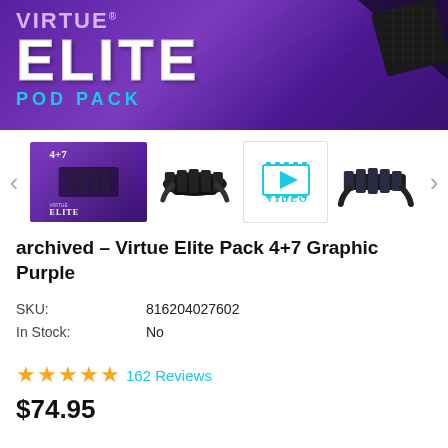[Figure (photo): Virtue Elite Pod Pack hero banner with purple background, large ELITE text, POD PACK subtitle in cyan, and black pad/grip product in top right corner]
[Figure (photo): Thumbnail gallery row showing: 1) Product image with 4+7 badge and Virtue Elite branding on purple background, 2) Black pod pack harness front view, 3) Video thumbnail with cyan play icon and VIDEO label, 4) Black pod pack harness side view. Navigation arrows on left and right.]
archived – Virtue Elite Pack 4+7 Graphic Purple
SKU:    816204027602
In Stock:    No
★★★★★ 162 Reviews
$74.95